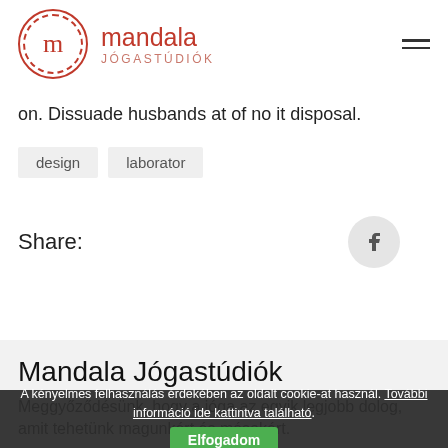[Figure (logo): Mandala Jógastúdiók logo with circular emblem containing the letter m and brand name]
on. Dissuade husbands at of no it disposal.
design
laborator
Share:
[Figure (other): Facebook share button circle icon]
Mandala Jógastúdiók
Meggyőződésünk, hogy a jóga az egyik legjobb dolog, amit tehetünk magunkért és másokért.
Deáktér | Liget | Nyugati
A kényelmes felhasználás érdekében az oldalt cookie-at használ. További információ ide kattintva található.
Elfogadom